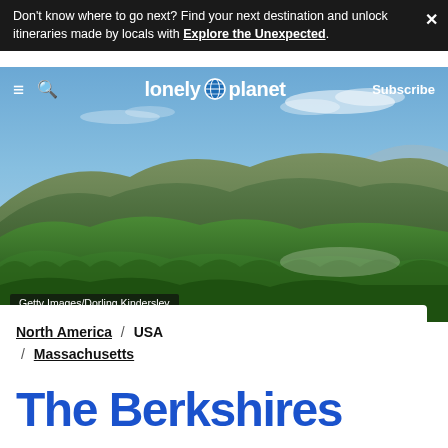Don't know where to go next? Find your next destination and unlock itineraries made by locals with Explore the Unexpected.
[Figure (screenshot): Lonely Planet website navigation bar with hamburger menu, search icon, Lonely Planet logo with globe icon, and Subscribe button, overlaid on a hero landscape photograph.]
[Figure (photo): Aerial landscape photograph of the Berkshires showing rolling green forested hills and mountains under a partly cloudy blue sky, with a small town visible in the valley. Credit: Getty Images/Dorling Kindersley.]
Getty Images/Dorling Kindersley
North America / USA / Massachusetts
The Berkshires